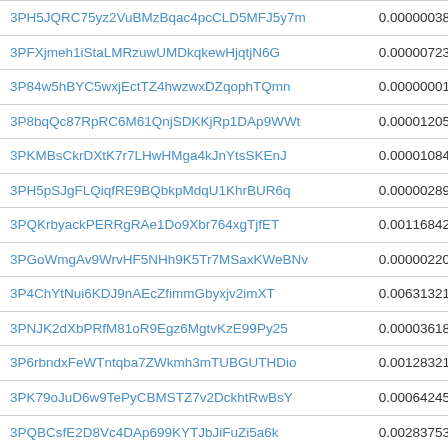| Address | Value |
| --- | --- |
| 3PH5JQRC75yz2VuBMzBqac4pcCLD5MFJ5y7m | 0.00000038 |
| 3PFXjmeh1iStaLMRzuwUMDkqkewHjqtjN6G | 0.00000723 |
| 3P84w5hBYC5wxjEctTZ4hwzwxDZqophTQmn | 0.00000001 |
| 3P8bqQc87RpRC6M61QnjSDKKjRp1DAp9WWt | 0.00001205 |
| 3PKMBsCkrDXtK7r7LHwHMga4kJnYtsSKEnJ | 0.00001084 |
| 3PH5pSJgFLQiqfRE9BQbkpMdqU1KhrBUR6q | 0.00000289 |
| 3PQKrbyackPERRgRAe1Do9Xbr764xgTjfET | 0.00116842 |
| 3PGoWmgAv9WrvHF5NHh9K5Tr7MSaxKWeBNv | 0.00000220 |
| 3P4ChYtNui6KDJ9nAEcZfimmGbyxjv2imXT | 0.00631321 |
| 3PNJK2dXbPRfM81oR9Egz6MgtvKzE99Py25 | 0.00003618 |
| 3P6rbndxFeWTntqba7ZWkmh3mTUBGUTHDio | 0.00128321 |
| 3PK79oJuD6w9TePyCBMSTZ7v2DckhtRwBsY | 0.00064245 |
| 3PQBCsfE2D8Vc4DAp699KYTJbJiFuZi5a6k | 0.00283753 |